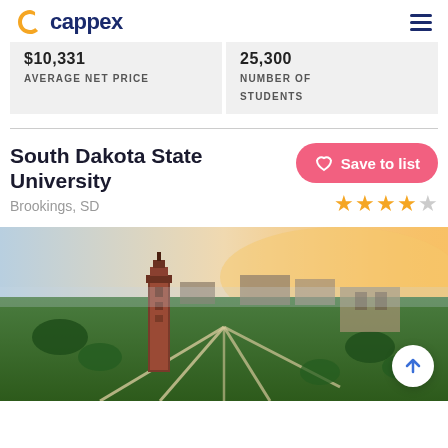cappex
$10,331 AVERAGE NET PRICE
25,300 NUMBER OF STUDENTS
South Dakota State University
Brookings, SD
Save to list
[Figure (photo): Aerial view of South Dakota State University campus showing a brick clock tower, green lawns with walking paths, and warm sunset light in the background.]